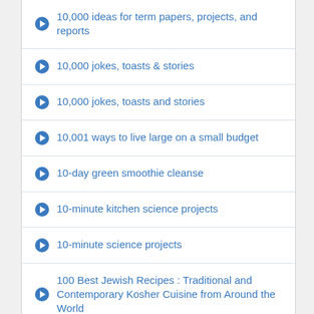10,000 ideas for term papers, projects, and reports
10,000 jokes, toasts & stories
10,000 jokes, toasts and stories
10,001 ways to live large on a small budget
10-day green smoothie cleanse
10-minute kitchen science projects
10-minute science projects
100 Best Jewish Recipes : Traditional and Contemporary Kosher Cuisine from Around the World
100 Day
100 Fiedler favorites
100 Years of Women's Suffrage : a University of